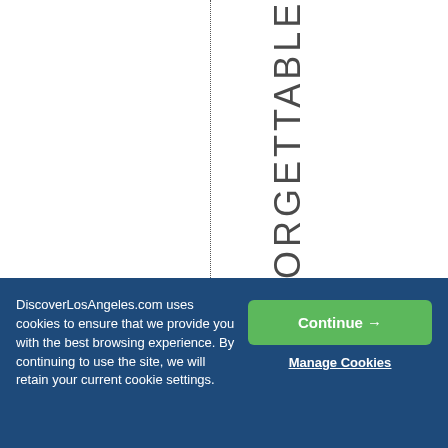[Figure (other): White area with a dotted vertical dividing line on the left half, and large vertical text reading 'S:UNFORGETTABLE' on the right portion, rendered top-to-bottom letter by letter.]
DiscoverLosAngeles.com uses cookies to ensure that we provide you with the best browsing experience. By continuing to use the site, we will retain your current cookie settings.
Continue →
Manage Cookies